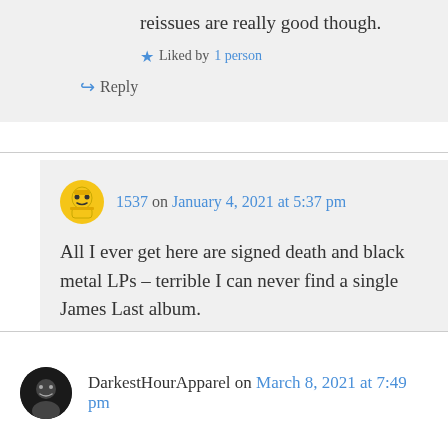reissues are really good though.
Liked by 1 person
Reply
1537 on January 4, 2021 at 5:37 pm
All I ever get here are signed death and black metal LPs – terrible I can never find a single James Last album.
Liked by 1 person
DarkestHourApparel on March 8, 2021 at 7:49 pm